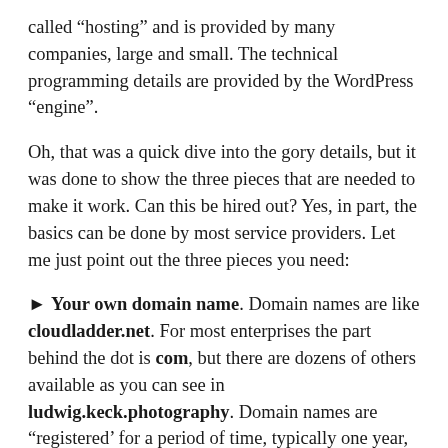called “hosting” and is provided by many companies, large and small. The technical programming details are provided by the WordPress “engine”.
Oh, that was a quick dive into the gory details, but it was done to show the three pieces that are needed to make it work. Can this be hired out? Yes, in part, the basics can be done by most service providers. Let me just point out the three pieces you need:
► Your own domain name. Domain names are like cloudladder.net. For most enterprises the part behind the dot is com, but there are dozens of others available as you can see in ludwig.keck.photography. Domain names are “registered’ for a period of time, typically one year, with an “ICANN accredited registrar”. We show a couple on our Resources page. You can obtain your domain name from WordPress (more on that below) or from CloudLadder as part of our service. Typically a domain name will cost $10 or